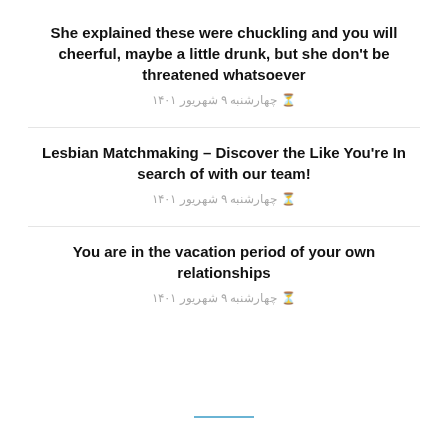She explained these were chuckling and you will cheerful, maybe a little drunk, but she don't be threatened whatsoever
⏱ چهارشنبه ۹ شهریور ۱۴۰۱
Lesbian Matchmaking – Discover the Like You're In search of with our team!
⏱ چهارشنبه ۹ شهریور ۱۴۰۱
You are in the vacation period of your own relationships
⏱ چهارشنبه ۹ شهریور ۱۴۰۱